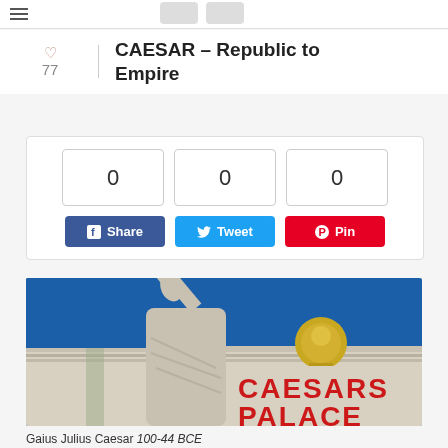CAESAR – Republic to Empire
♡ 77
[Figure (screenshot): Social sharing widget showing three counter boxes each with 0, and three buttons: Facebook Share (blue), Twitter Tweet (light blue), and Pinterest Pin (red)]
[Figure (photo): Photo of a white marble statue of Julius Caesar with arm raised, pointing upward, against a blue sky. In the background is the Caesars Palace hotel sign with red letters on white background with gold ornament.]
Gaius Julius Caesar 100-44 BCE